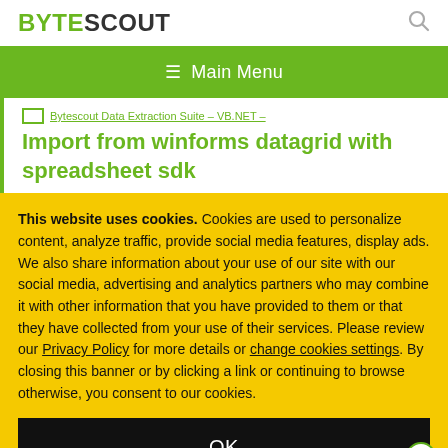BYTESCOUT
≡ Main Menu
Bytescout Data Extraction Suite - VB.NET - Import from winforms datagrid with spreadsheet sdk
This website uses cookies. Cookies are used to personalize content, analyze traffic, provide social media features, display ads. We also share information about your use of our site with our social media, advertising and analytics partners who may combine it with other information that you have provided to them or that they have collected from your use of their services. Please review our Privacy Policy for more details or change cookies settings. By closing this banner or by clicking a link or continuing to browse otherwise, you consent to our cookies.
OK